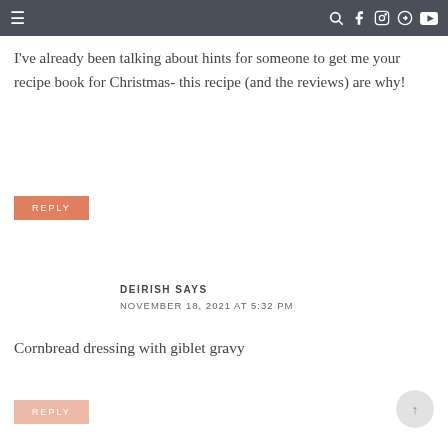≡  🔍 f 📷 p ▶
I've already been talking about hints for someone to get me your recipe book for Christmas- this recipe (and the reviews) are why!
REPLY
DEIRISH SAYS
NOVEMBER 18, 2021 AT 5:32 PM
Cornbread dressing with giblet gravy
REPLY